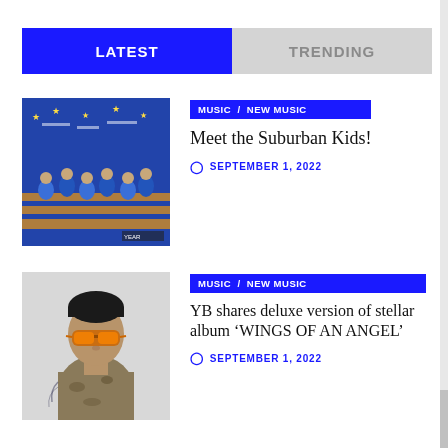LATEST / TRENDING
[Figure (photo): Album cover showing a youth basketball team in blue jerseys sitting on bleachers with star graphics in background]
MUSIC / NEW MUSIC
Meet the Suburban Kids!
SEPTEMBER 1, 2022
[Figure (photo): Portrait of a man with short hair wearing orange sunglasses and a camouflage tank top, with tattoos visible]
MUSIC / NEW MUSIC
YB shares deluxe version of stellar album 'WINGS OF AN ANGEL'
SEPTEMBER 1, 2022